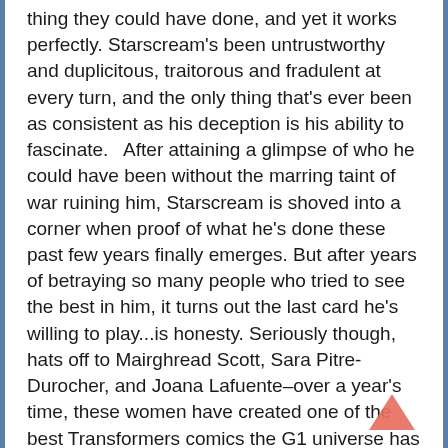thing they could have done, and yet it works perfectly. Starscream's been untrustworthy and duplicitous, traitorous and fradulent at every turn, and the only thing that's ever been as consistent as his deception is his ability to fascinate.   After attaining a glimpse of who he could have been without the marring taint of war ruining him, Starscream is shoved into a corner when proof of what he's done these past few years finally emerges. But after years of betraying so many people who tried to see the best in him, it turns out the last card he's willing to play...is honesty. Seriously though, hats off to Mairghread Scott, Sara Pitre-Durocher, and Joana Lafuente–over a year's time, these women have created one of the best Transformers comics the G1 universe has ever seen. And I feel like that's crucial to say because, we usually just get caught up in how great Transformers: Lost Light/MTMTE is and we don't talk about the good work
[Figure (other): A pink/salmon colored upward-pointing chevron/arrow icon (scroll-to-top button) in the bottom right area]